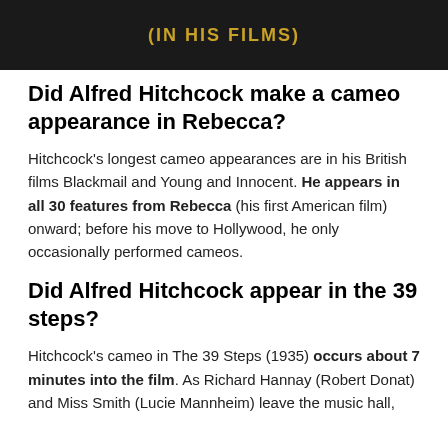[Figure (photo): Dark background image with golden text '(IN HIS FILMS)' in uppercase bold letters]
Did Alfred Hitchcock make a cameo appearance in Rebecca?
Hitchcock's longest cameo appearances are in his British films Blackmail and Young and Innocent. He appears in all 30 features from Rebecca (his first American film) onward; before his move to Hollywood, he only occasionally performed cameos.
Did Alfred Hitchcock appear in the 39 steps?
Hitchcock's cameo in The 39 Steps (1935) occurs about 7 minutes into the film. As Richard Hannay (Robert Donat) and Miss Smith (Lucie Mannheim) leave the music hall,